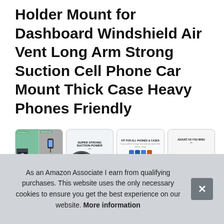Holder Mount for Dashboard Windshield Air Vent Long Arm Strong Suction Cell Phone Car Mount Thick Case Heavy Phones Friendly
#ad
[Figure (photo): Four product images of a cell phone car mount: collage of dashboard/windshield/vent mounting positions; super strong suction power with tire graphic; fit for all phones & cases with phone variants and bracket; adjust as you wish with mount on cup holder.]
VIC...
das...
for phone feeds your different usage needs. The extremel...